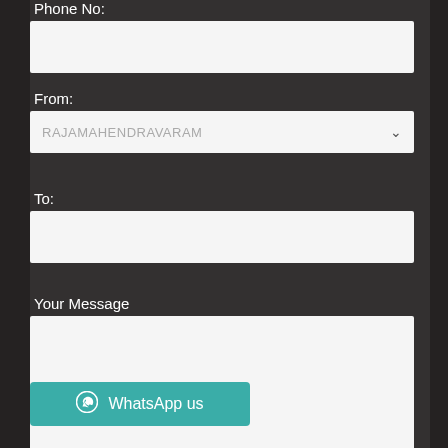Phone No:
From:
RAJAMAHENDRAVARAM
To:
Your Message
WhatsApp us